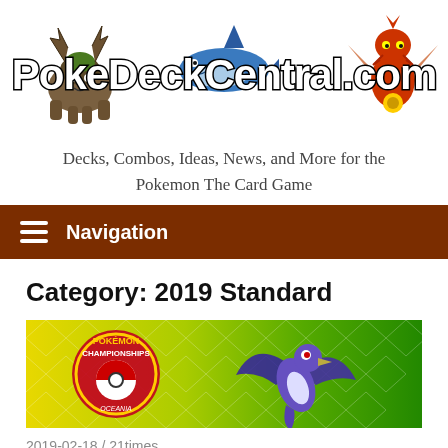[Figure (logo): PokeDeckCentral.com website logo with Pokemon characters (Torterra-like creature on left, blue whale in center top, Heracross/Lucario-like character on right) and bold white outlined text]
Decks, Combos, Ideas, News, and More for the Pokemon The Card Game
≡  Navigation
Category: 2019 Standard
[Figure (illustration): Pokemon Championships Oceania banner with yellow-green geometric background and a flying blue/purple Pokemon (Lugia or similar) on the right side]
2019-02-18 / 21times